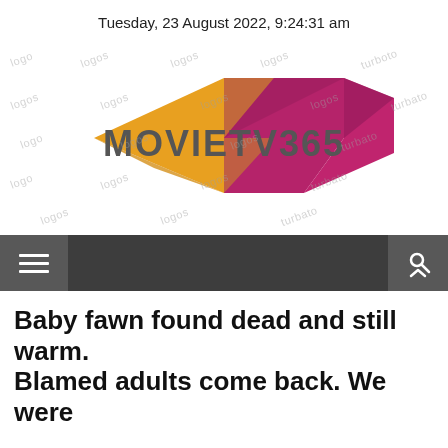Tuesday, 23 August 2022, 9:24:31 am
[Figure (logo): MovieTV365 logo — geometric diamond shapes in yellow/orange and magenta/pink above and below the text 'MOVIETV365' in dark grey bold letters. Watermark text visible across the logo area.]
[Figure (screenshot): Dark grey navigation bar with hamburger menu icon on left and search/person icon on right.]
Baby fawn found dead and still warm. Blamed adults come back. We were...